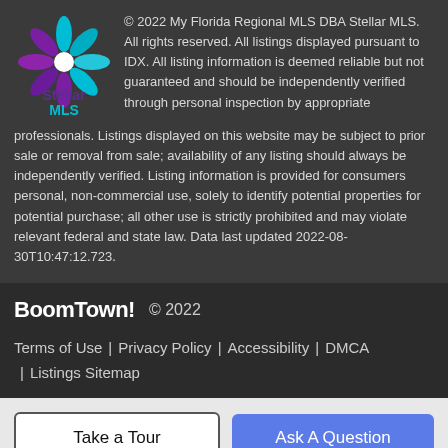[Figure (logo): Stellar MLS logo with colorful snowflake/star design in teal, purple, and blue, with 'Stellar MLS' text below in purple and teal]
© 2022 My Florida Regional MLS DBA Stellar MLS. All rights reserved. All listings displayed pursuant to IDX. All listing information is deemed reliable but not guaranteed and should be independently verified through personal inspection by appropriate professionals. Listings displayed on this website may be subject to prior sale or removal from sale; availability of any listing should always be independently verified. Listing information is provided for consumers personal, non-commercial use, solely to identify potential properties for potential purchase; all other use is strictly prohibited and may violate relevant federal and state law. Data last updated 2022-08-30T10:47:12.723.
BoomTown! © 2022
Terms of Use | Privacy Policy | Accessibility | DMCA | Listings Sitemap
Take a Tour
Ask A Question